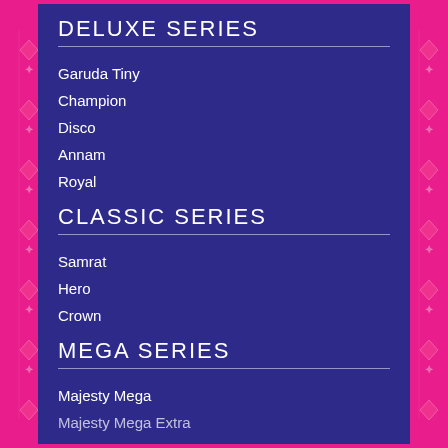DELUXE SERIES
Garuda Tiny
Champion
Disco
Annam
Royal
CLASSIC SERIES
Samrat
Hero
Crown
MEGA SERIES
Majesty Mega
Majesty Mega Extra